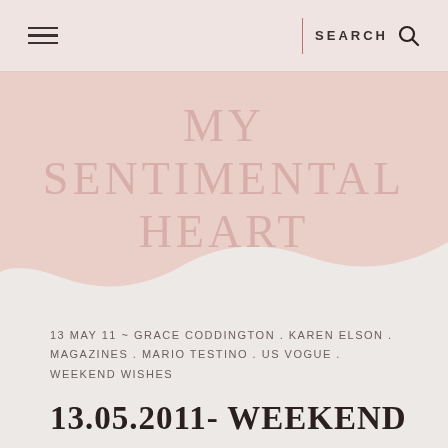≡  |  SEARCH  🔍
MY SENTIMENTAL HEART
13 MAY 11 ~ GRACE CODDINGTON . KAREN ELSON . MAGAZINES . MARIO TESTINO . US VOGUE . WEEKEND WISHES
13.05.2011- WEEKEND